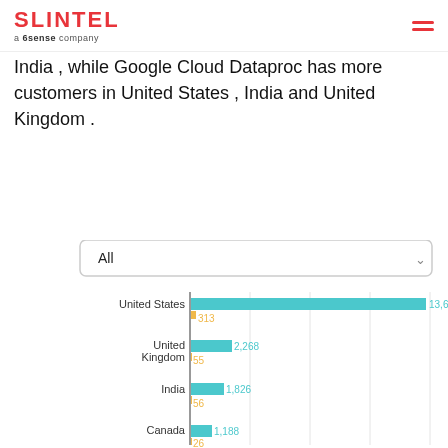SLINTEL a 6sense company
India , while Google Cloud Dataproc has more customers in United States , India and United Kingdom .
[Figure (bar-chart): Customers by Country]